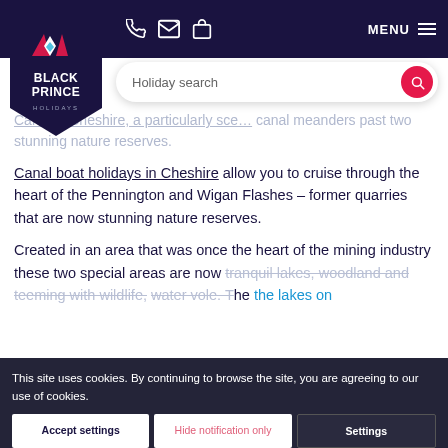Black Prince Holidays – navigation header with logo, phone, email, bag icons, and MENU
[Figure (logo): Black Prince Holidays logo badge – navy pentagon shape with geometric diamond/arrow icon, brand name BLACK PRINCE HOLIDAYS]
[Figure (screenshot): Holiday search bar with pink search button]
Canal in Cheshire, a particularly scenic canal, meanders past two stunning nature reserves.
Canal boat holidays in Cheshire allow you to cruise through the heart of the Pennington and Wigan Flashes – former quarries that are now stunning nature reserves.
Created in an area that was once the heart of the mining industry these two special areas are now tranquil lakes, woodland and teeming with wildlife, water vole. The ... the lakes on result of
This site uses cookies. By continuing to browse the site, you are agreeing to our use of cookies.
Accept settings | Hide notification only | Settings